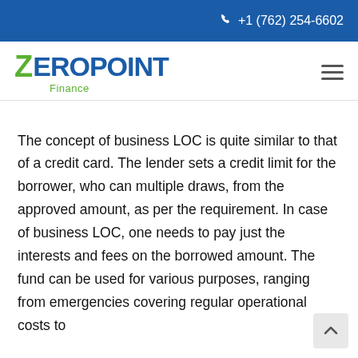+1 (762) 254-6602
[Figure (logo): Zeropoint Finance logo with green Z and blue EROPOINT text, with green Finance subtitle]
The concept of business LOC is quite similar to that of a credit card. The lender sets a credit limit for the borrower, who can multiple draws, from the approved amount, as per the requirement. In case of business LOC, one needs to pay just the interests and fees on the borrowed amount. The fund can be used for various purposes, ranging from emergencies covering regular operational costs to